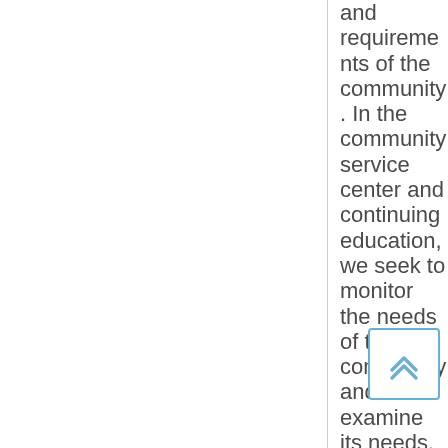and requirements of the community. In the community service center and continuing education, we seek to monitor the needs of the community and to examine its needs. We look forward to expanding the activities